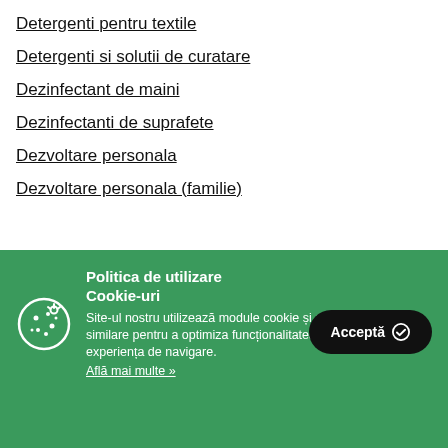Detergenti pentru textile
Detergenti si solutii de curatare
Dezinfectant de maini
Dezinfectanti de suprafete
Dezvoltare personala
Dezvoltare personala (familie)
Politica de utilizare Cookie-uri
Site-ul nostru utilizează module cookie și alte tehnologii similare pentru a optimiza funcționalitatea si a îmbunătăți experiența de navigare.
Află mai multe »
Acceptă